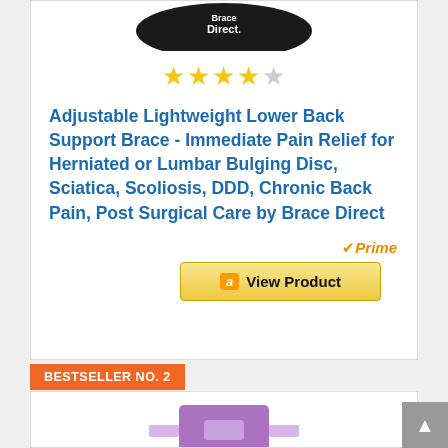[Figure (photo): Brace Direct lower back support brace product image (partial, top of card), black brace with Brace Direct logo visible]
[Figure (other): 4-star rating display with 4 filled yellow stars and 1 empty/grey star]
Adjustable Lightweight Lower Back Support Brace - Immediate Pain Relief for Herniated or Lumbar Bulging Disc, Sciatica, Scoliosis, DDD, Chronic Back Pain, Post Surgical Care by Brace Direct
[Figure (logo): Amazon Prime badge with orange checkmark and italic Prime text]
[Figure (other): Amazon 'View Product' button in yellow/gold color with Amazon 'a' logo]
BESTSELLER NO. 2
[Figure (photo): Partial view of second bestseller product - purple colored back brace/support product, bottom of page]